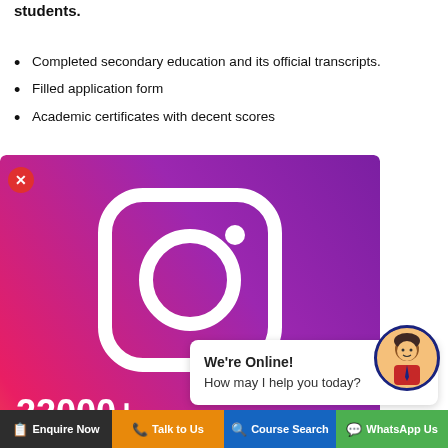students.
Completed secondary education and its official transcripts.
Filled application form
Academic certificates with decent scores
[Figure (infographic): Instagram follow popup with gradient background (pink/orange to purple), Instagram camera logo icon in white, text '22000+ users follow us on Instagram', 'You too will...' and 'Follow AEC...' button. Close X button top left.]
We're Online!
How may I help you today?
[Figure (illustration): Chat avatar of a person in a circular frame with dark blue border]
...nd effective. Having a prior awareness of what are the essential requirements that students possess can save time at the very
Enquire Now  Talk to Us  Course Search  WhatsApp Us